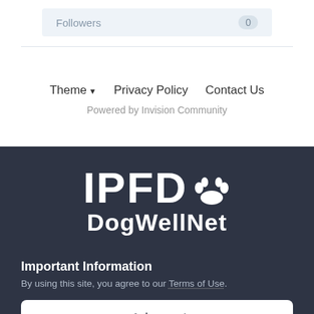| Followers | 0 |
| --- | --- |
Theme ▼   Privacy Policy   Contact Us
Powered by Invision Community
[Figure (logo): IPFD DogWellNet logo with paw print icon, white text on dark navy background]
Important Information
By using this site, you agree to our Terms of Use.
✔ I accept